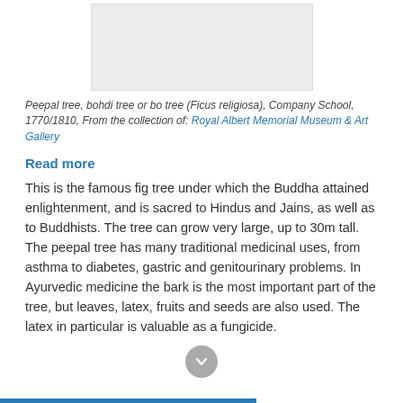[Figure (photo): Gray placeholder image area for a Peepal tree illustration]
Peepal tree, bohdi tree or bo tree (Ficus religiosa), Company School, 1770/1810, From the collection of: Royal Albert Memorial Museum & Art Gallery
Read more
This is the famous fig tree under which the Buddha attained enlightenment, and is sacred to Hindus and Jains, as well as to Buddhists. The tree can grow very large, up to 30m tall. The peepal tree has many traditional medicinal uses, from asthma to diabetes, gastric and genitourinary problems. In Ayurvedic medicine the bark is the most important part of the tree, but leaves, latex, fruits and seeds are also used. The latex in particular is valuable as a fungicide.